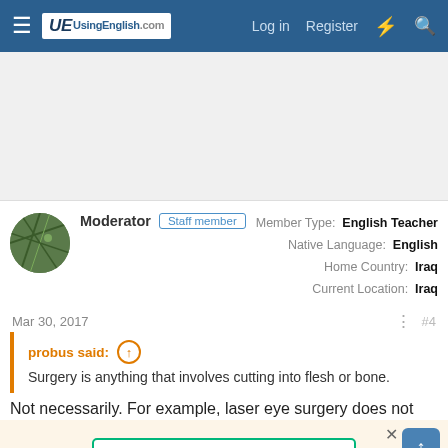UsingEnglish.com — Log in  Register
[Figure (screenshot): Advertisement/blank area]
Moderator  Staff member  |  Member Type: English Teacher  |  Native Language: English  |  Home Country: Iraq  |  Current Location: Iraq
Mar 30, 2017  #4
probus said: ↑  Surgery is anything that involves cutting into flesh or bone.
Not necessarily. For example, laser eye surgery does not
[Figure (screenshot): Review us on Trustpilot banner]